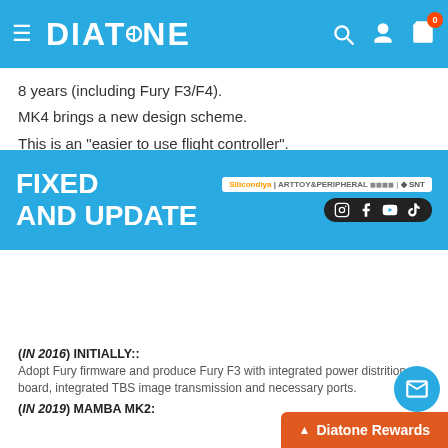DIATONE — navigation header with logo, search, account, cart (0)
8 years (including Fury F3/F4).
MK4 brings a new design scheme.
This is an "easier to use flight controller".
[Figure (infographic): FIXED AND UPDATE banner in blue with sponsor logos (Silicondiya | ARTTOY&PERIPHERAL | SNT) and social media icons (Instagram, Facebook, YouTube, TikTok)]
(IN 2016) INITIALLY::
Adopt Fury firmware and produce Fury F3 with integrated power distribution board, integrated TBS image transmission and necessary ports.
(IN 2019) MAMBA MK2: